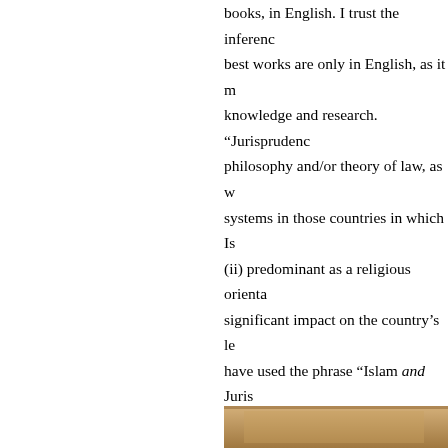books, in English. I trust the inference best works are only in English, as it may knowledge and research. “Jurisprudence” philosophy and/or theory of law, as well as systems in those countries in which Islam is (ii) predominant as a religious orientation significant impact on the country’s legal have used the phrase “Islam and Jurisprudence” fact that it is a perilous endeavor to comment philosophically or theologically (and similar problems), Islamic law as such (i.e., in a legal sense) in legal systems on the grounds that warrant for this appellation from both not aspire to be exhaustive, although depth and breadth of the available literature I may have inadvertently missed.
[Figure (photo): Partial view of a book or document at the bottom right of the page]